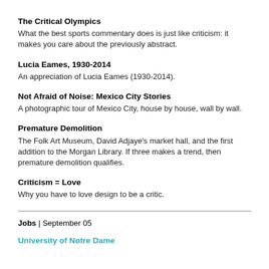The Critical Olympics
What the best sports commentary does is just like criticism: it makes you care about the previously abstract.
Lucia Eames, 1930-2014
An appreciation of Lucia Eames (1930-2014).
Not Afraid of Noise: Mexico City Stories
A photographic tour of Mexico City, house by house, wall by wall.
Premature Demolition
The Folk Art Museum, David Adjaye's market hall, and the first addition to the Morgan Library. If three makes a trend, then premature demolition qualifies.
Criticism = Love
Why you have to love design to be a critic.
Jobs | September 05
University of Notre Dame